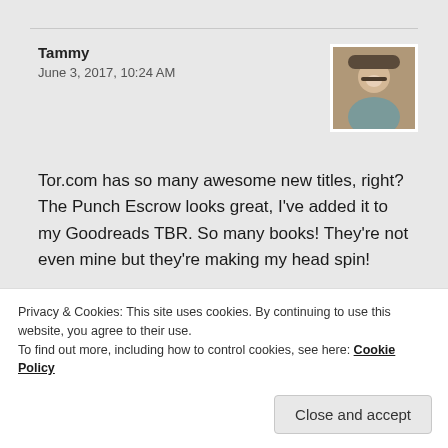Tammy
June 3, 2017, 10:24 AM
[Figure (photo): Profile photo of Tammy, a woman with glasses smiling, wearing a hat]
Tor.com has so many awesome new titles, right? The Punch Escrow looks great, I've added it to my Goodreads TBR. So many books! They're not even mine but they're making my head spin!
★ Like
Reply
Privacy & Cookies: This site uses cookies. By continuing to use this website, you agree to their use.
To find out more, including how to control cookies, see here: Cookie Policy
Close and accept